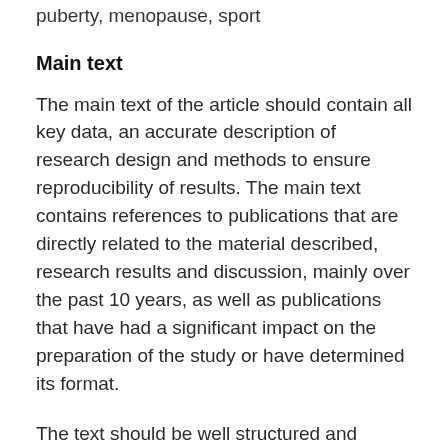puberty, menopause, sport
Main text
The main text of the article should contain all key data, an accurate description of research design and methods to ensure reproducibility of results. The main text contains references to publications that are directly related to the material described, research results and discussion, mainly over the past 10 years, as well as publications that have had a significant impact on the preparation of the study or have determined its format.
The text should be well structured and divided into the following sections: